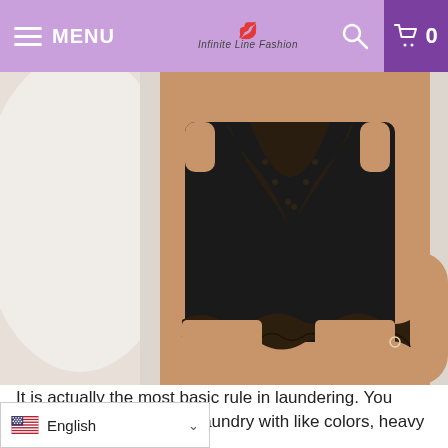MENU | Infinite Line Fashion | [search icon] | [cart] 0
[Figure (photo): Woman wearing black satin and lace lingerie set (cami top and shorts) sitting on white bedding. The lingerie features black lace trim at the neckline and hemline.]
It is actually the most basic rule in laundering. You need to categorize your laundry with like colors, heavy fabrics with [delicates with